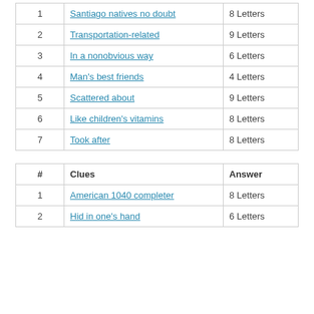| # | Clues | Answer |
| --- | --- | --- |
| 1 | Santiago natives no doubt | 8 Letters |
| 2 | Transportation-related | 9 Letters |
| 3 | In a nonobvious way | 6 Letters |
| 4 | Man's best friends | 4 Letters |
| 5 | Scattered about | 9 Letters |
| 6 | Like children's vitamins | 8 Letters |
| 7 | Took after | 8 Letters |
| # | Clues | Answer |
| --- | --- | --- |
| 1 | American 1040 completer | 8 Letters |
| 2 | Hid in one's hand | 6 Letters |